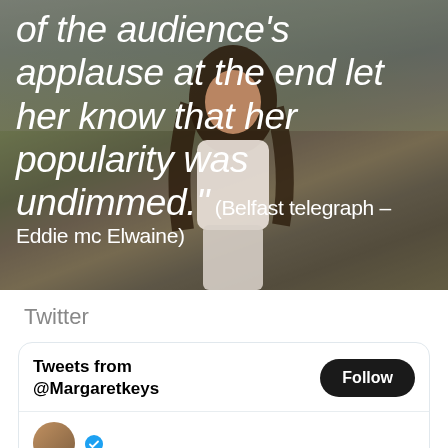[Figure (photo): Photo of a woman with long dark hair in a white outfit, standing in a field. Overlaid with italic white quote text: 'of the audience's applause at the end let her know that her popularity was undimmed.' (Belfast telegraph – Eddie mc Elwaine)]
Twitter
Tweets from @Margaretkeys